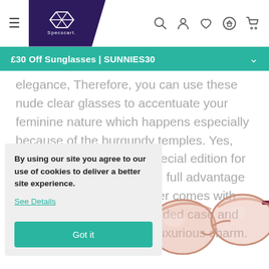Specscart navigation bar with hamburger menu, logo, search, account, wishlist, home, and cart icons
£30 Off Sunglasses | SUNNIES30
elegance, Therefore, you can use these nude clear glasses to accentuate your feminine nature which happens especially because of the burgundy temples. Yes, This patterned pair is a special edition for women and you must take full advantage of it. Don't forget, The order comes with Salvatore Ferragamo branded case and cleaning cloth that has a luxurious charm.
By using our site you agree to our use of cookies to deliver a better site experience.
See Details
Got it
[Figure (photo): Pink/nude transparent cat-eye style eyeglasses with burgundy/dark temple arms, photographed from a slight angle showing the front and side of the frames.]